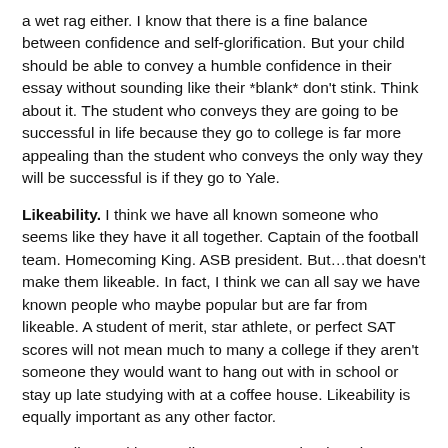Humble Confidence. As one likes a show-boat, no one really likes a wet rag either. I know that there is a fine balance between confidence and self-glorification. But your child should be able to convey a humble confidence in their essay without sounding like their *blank* don't stink. Think about it. The student who conveys they are going to be successful in life because they go to college is far more appealing than the student who conveys the only way they will be successful is if they go to Yale.
Likeability. I think we have all known someone who seems like they have it all together. Captain of the football team. Homecoming King. ASB president. But…that doesn't make them likeable. In fact, I think we can all say we have known people who maybe popular but are far from likeable. A student of merit, star athlete, or perfect SAT scores will not mean much to many a college if they aren't someone they would want to hang out with in school or stay up late studying with at a coffee house. Likeability is equally important as any other factor.
Generally speaking a college essay can be daunting, especially since most will tell you, its the most important part of the application process. But it doesn't have to be. College essays should highlight your child's uniqueness, their passion and their individuality. Most importantly it should sound like them!